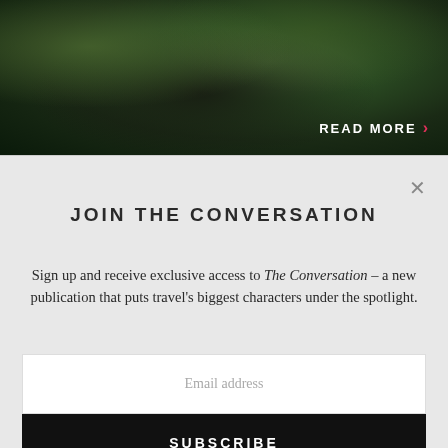[Figure (photo): Dark nature photograph showing trees with green leaves against dark background, with 'READ MORE ›' button overlay in bottom right]
JOIN THE CONVERSATION
Sign up and receive exclusive access to The Conversation – a new publication that puts travel's biggest characters under the spotlight.
Email address
SUBSCRIBE